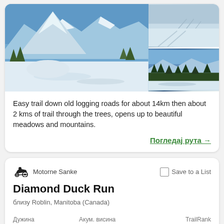[Figure (photo): Top card with mountain snow trail photos: large main photo of snowy mountain landscape on left, two smaller photos stacked on right showing ski trail and snowy trees]
Easy trail down old logging roads for about 14km then about 2 kms of trail through the trees, opens up to beautiful meadows and mountains.
Погледај рута →
Motorne Sanke
Save to a List
Diamond Duck Run
близу Roblin, Manitoba (Canada)
| Дужина | Акум. висина | TrailRank |
| --- | --- | --- |
| 194,90km | 1123m | 24 |